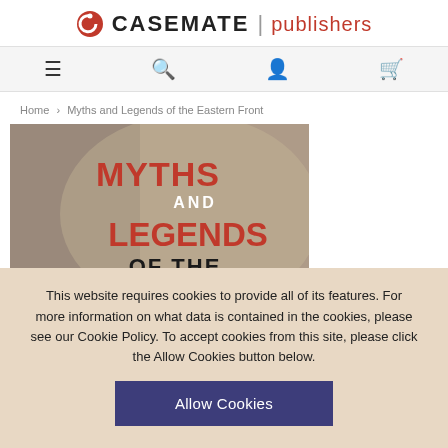CASEMATE | publishers
[Figure (screenshot): Navigation bar with menu, search, account, and cart icons]
Home > Myths and Legends of the Eastern Front
[Figure (photo): Book cover: Myths and Legends of the Eastern Front — showing WWII soldiers with bold red stencil typography]
This website requires cookies to provide all of its features. For more information on what data is contained in the cookies, please see our Cookie Policy. To accept cookies from this site, please click the Allow Cookies button below.
Allow Cookies